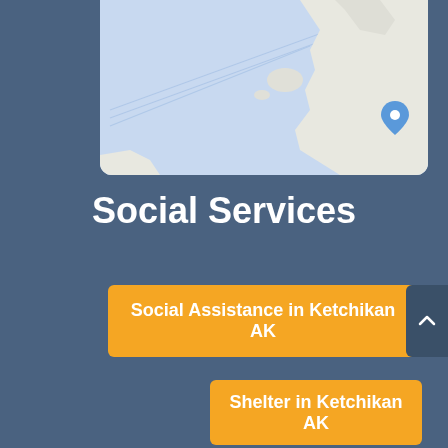[Figure (map): A Google Maps style view showing a coastal area near Ketchikan, AK with blue water and land masses in gray/white tones, with a blue location marker pin visible]
Social Services
Social Assistance in Ketchikan AK
Shelter in Ketchikan AK